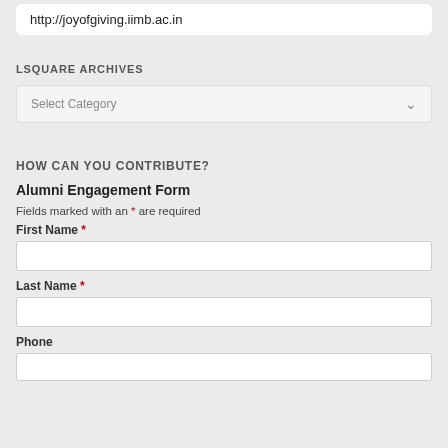http://joyofgiving.iimb.ac.in
LSQUARE ARCHIVES
Select Category
HOW CAN YOU CONTRIBUTE?
Alumni Engagement Form
Fields marked with an * are required
First Name *
Last Name *
Phone